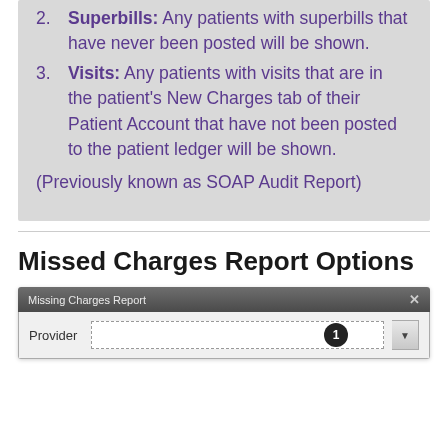2. Superbills: Any patients with superbills that have never been posted will be shown.
3. Visits: Any patients with visits that are in the patient's New Charges tab of their Patient Account that have not been posted to the patient ledger will be shown.
(Previously known as SOAP Audit Report)
Missed Charges Report Options
[Figure (screenshot): Missing Charges Report dialog box with a Provider dropdown field. A numbered badge '1' is shown overlaid on the Provider input field.]